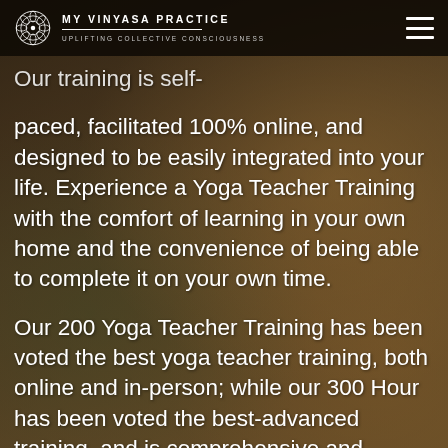MY VINYASA PRACTICE | UPLIFTING COLLECTIVE CONSCIOUSNESS
Our training is self-paced, facilitated 100% online, and designed to be easily integrated into your life. Experience a Yoga Teacher Training with the comfort of learning in your own home and the convenience of being able to complete it on your own time.
Our 200 Yoga Teacher Training has been voted the best yoga teacher training, both online and in-person; while our 300 Hour has been voted the best-advanced training, and is comprehensive and thorough. We are the only online yoga teacher training platform to offer both an accredited online yoga teacher training and an accredited